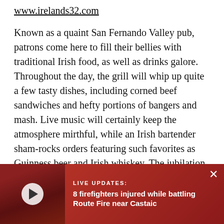www.irelands32.com
Known as a quaint San Fernando Valley pub, patrons come here to fill their bellies with traditional Irish food, as well as drinks galore. Throughout the day, the grill will whip up quite a few tasty dishes, including corned beef sandwiches and hefty portions of bangers and mash. Live music will certainly keep the atmosphere mirthful, while an Irish bartender sham-rocks orders featuring such favorites as Guinness beer and Irish whiskey. The jubilation begins at 8 a.m., continuing into the green of night.
Related: Best Bars S…
[Figure (screenshot): Live updates overlay bar with red/orange gradient background showing a video thumbnail with play button on left, 'LIVE UPDATES:' label in white uppercase, and headline '8 firefighters injured while battling Route Fire near Castaic' in white bold text, with an X close button in the top right corner.]